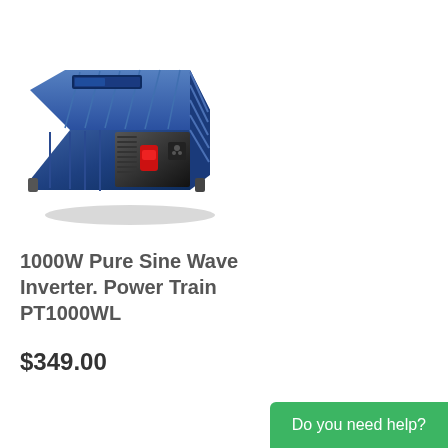[Figure (photo): Blue and black 1000W Pure Sine Wave Power Inverter with red switch and AC outlet on front panel]
1000W Pure Sine Wave Inverter. Power Train PT1000WL
$349.00
Do you need help?